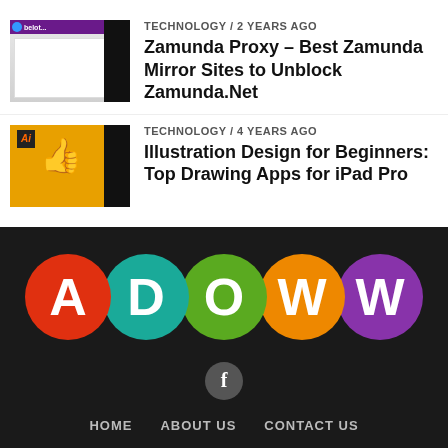TECHNOLOGY / 2 years ago
Zamunda Proxy – Best Zamunda Mirror Sites to Unblock Zamunda.Net
[Figure (screenshot): Thumbnail image of a website screenshot with purple header and white content area, black bar on right]
TECHNOLOGY / 4 years ago
Illustration Design for Beginners: Top Drawing Apps for iPad Pro
[Figure (screenshot): Thumbnail image with yellow/orange background, Adobe Illustrator logo, thumbs up hand icon, black bar on right]
[Figure (logo): ADOWW logo with five colored circles: red (A), teal (D), green (O), orange (W), purple (W)]
[Figure (logo): Facebook icon in a dark circle]
HOME   ABOUT US   CONTACT US